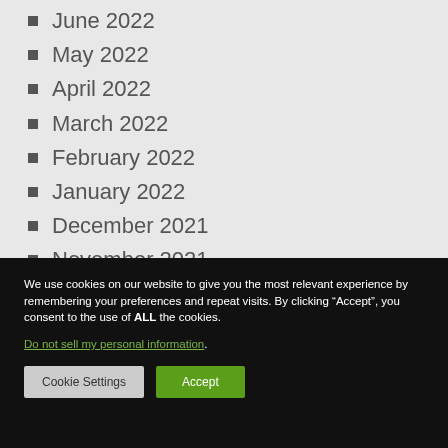June 2022
May 2022
April 2022
March 2022
February 2022
January 2022
December 2021
November 2021
We use cookies on our website to give you the most relevant experience by remembering your preferences and repeat visits. By clicking “Accept”, you consent to the use of ALL the cookies. Do not sell my personal information.